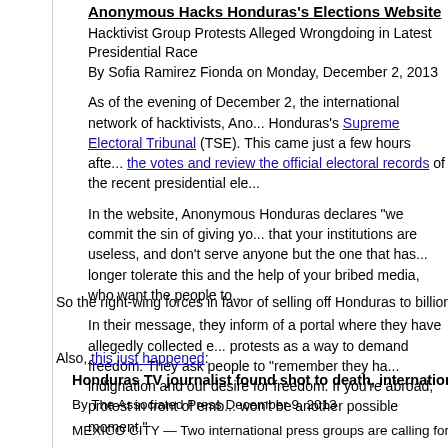Anonymous Hacks Honduras's Elections Website
Hacktivist Group Protests Alleged Wrongdoing in Latest Presidential Race
By Sofia Ramirez Fionda on Monday, December 2, 2013
As of the evening of December 2, the international network of hacktivists, Anonymous, hacked Honduras's Supreme Electoral Tribunal (TSE). This came just a few hours after a court ruled to allow citizens to audit the votes and review the official electoral records of the recent presidential election.
In the website, Anonymous Honduras declares "we commit the sin of giving you the truth" and that your institutions are useless, and don't serve anyone but the one that has bought you. We can no longer tolerate this and the help of your bribed media, who want the people to...
In their message, they inform of a portal where they have allegedly collected evidence and call for protests as a way to demand freedom. They ask people to "remember they have our indignation and our desire for freedom. If you're abroad, protest in front of embassies. There won't be another possible moment."
...
So the right-wing forces in favor of selling off Honduras to billionaires just had a b...
Also, this just happened:
Honduras TV journalist found shot to death, international press groups c...
By The Associated Press December 9, 2013
MEXICO CITY — Two international press groups are calling for a full investiga...